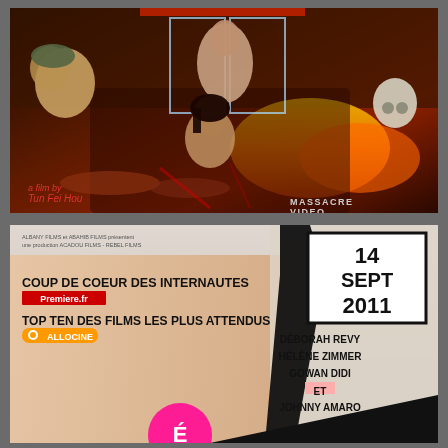[Figure (illustration): Horror/war movie poster with painted artwork showing soldiers, explosions, a figure with zombies, and the text 'Massacre Video'. Director credit reads 'Tun Fei Mou'.]
[Figure (illustration): French film promotional poster showing a partially nude woman wearing a tie. Text includes 'COUP DE COEUR DES INTERNAUTES PREMIERE.FR', 'TOP TEN DES FILMS LES PLUS ATTENDUS ALLOCINE', date '14 SEPT 2011', and cast names: DEBORAH REVY, HELENE ZIMMER, GOWAN DIDI, ET JOHNNY AMARO.]